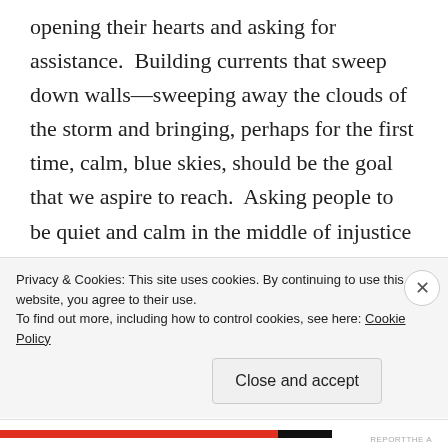opening their hearts and asking for assistance.  Building currents that sweep down walls—sweeping away the clouds of the storm and bringing, perhaps for the first time, calm, blue skies, should be the goal that we aspire to reach.  Asking people to be quiet and calm in the middle of injustice is not the answer.  Fighting against injustice is the answer, on the grand scale.

And meeting me in my storm, with open arms and an embrace—not a gut-punching meme that seeks to discredit my need, devalue my expression, and normalize an injustice.
Privacy & Cookies: This site uses cookies. By continuing to use this website, you agree to their use.
To find out more, including how to control cookies, see here: Cookie Policy
Close and accept